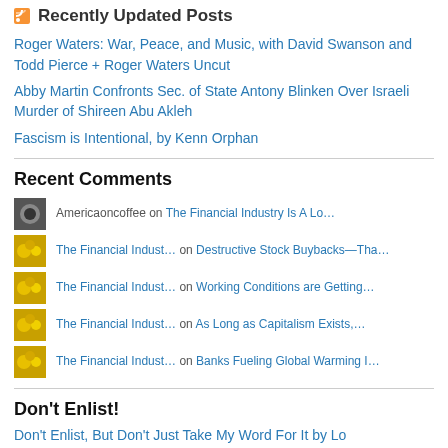Recently Updated Posts
Roger Waters: War, Peace, and Music, with David Swanson and Todd Pierce + Roger Waters Uncut
Abby Martin Confronts Sec. of State Antony Blinken Over Israeli Murder of Shireen Abu Akleh
Fascism is Intentional, by Kenn Orphan
Recent Comments
Americaoncoffee on The Financial Industry Is A Lo…
The Financial Indust… on Destructive Stock Buybacks—Tha…
The Financial Indust… on Working Conditions are Getting…
The Financial Indust… on As Long as Capitalism Exists,…
The Financial Indust… on Banks Fueling Global Warming I…
Don't Enlist!
Don't Enlist, But Don't Just Take My Word For It by Lo